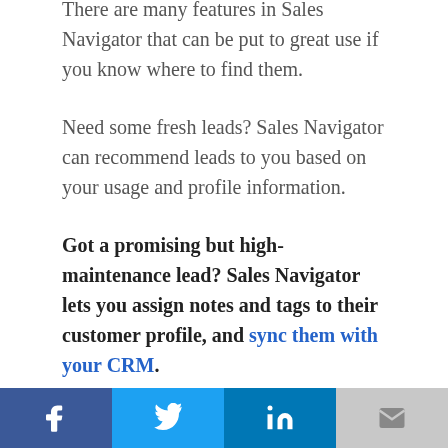There are many features in Sales Navigator that can be put to great use if you know where to find them.
Need some fresh leads? Sales Navigator can recommend leads to you based on your usage and profile information.
Got a promising but high-maintenance lead? Sales Navigator lets you assign notes and tags to their customer profile, and sync them with your CRM.
In an inbound marketing mood? Sales Navigator gives you expanded visibility into who has